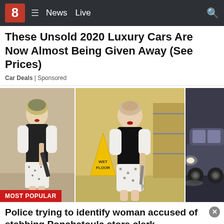8 News Live
These Unsold 2020 Luxury Cars Are Now Almost Being Given Away (See Prices)
Car Deals | Sponsored
[Figure (photo): Three surveillance/news photos: left - woman in white floral dress with black vest holding an object; center - same woman in store with knife; right - dark SUV vehicle at night. Red 'MOST POPULAR' badge on lower left.]
Police trying to identify woman accused of stabbing Ponchatoula store clerk